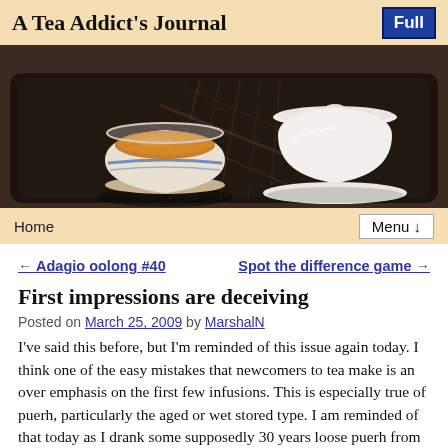A Tea Addict's Journal
[Figure (photo): A dark wooden tea tray with a small blue-and-white teacup filled with amber tea on the left, and a white lidded gaiwan on the right. The tray has carved bamboo decoration.]
Home | Menu ↓
← Adagio oolong #40    Spot the difference game →
First impressions are deceiving
Posted on March 25, 2009 by MarshalN
I've said this before, but I'm reminded of this issue again today. I think one of the easy mistakes that newcomers to tea make is an over emphasis on the first few infusions. This is especially true of puerh, particularly the aged or wet stored type. I am reminded of that today as I drank some supposedly 30 years loose puerh from